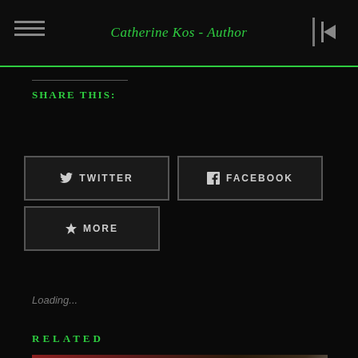Catherine Kos - Author
SHARE THIS:
TWITTER
FACEBOOK
MORE
Loading...
RELATED
[Figure (photo): Blurred warm-toned photo partially visible at bottom of page]